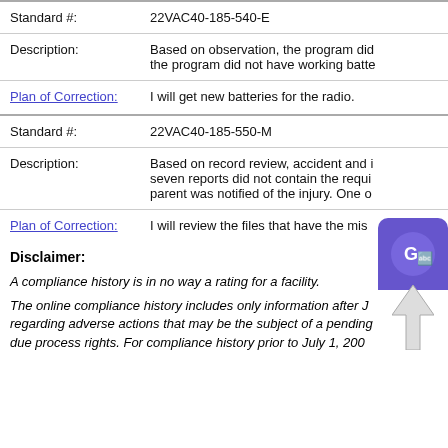| Standard #: | 22VAC40-185-540-E |
| Description: | Based on observation, the program did not have working batteries for the radio. |
| Plan of Correction: | I will get new batteries for the radio. |
| Standard #: | 22VAC40-185-550-M |
| Description: | Based on record review, accident and injury reports for seven reports did not contain the required information when parent was notified of the injury. One o... |
| Plan of Correction: | I will review the files that have the mis... |
Disclaimer:
A compliance history is in no way a rating for a facility.
The online compliance history includes only information after J... regarding adverse actions that may be the subject of a pending due process rights. For compliance history prior to July 1, 200...